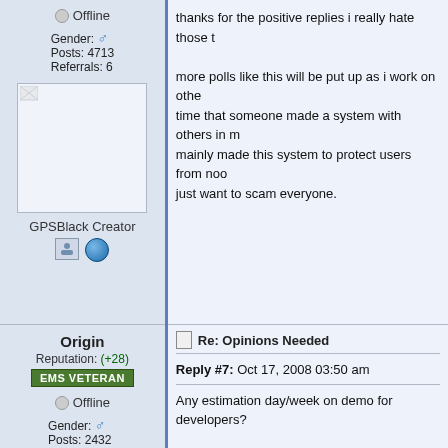Offline
Gender: ♂
Posts: 4713
Referrals: 6
[Figure (illustration): Broken image placeholder in a white bordered box]
GPSBlack Creator
[Figure (illustration): Person icon and globe icon]
thanks for the positive replies i really hate those t

more polls like this will be put up as i work on othe
time that someone made a system with others in m
mainly made this system to protect users from noo
just want to scam everyone.
Origin
Reputation: (+28)
EMS VETERAN
Offline
Gender: ♂
Posts: 2432
Referrals: 18
[Figure (photo): Dark galaxy/space image with bright glowing center]
Re: Opinions Needed
Reply #7: Oct 17, 2008 03:50 am
Any estimation day/week on demo for developers?